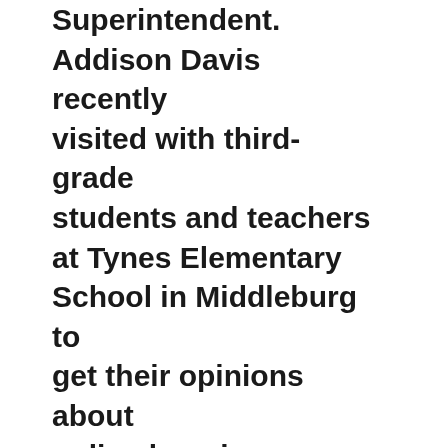Superintendent. Addison Davis recently visited with third-grade students and teachers at Tynes Elementary School in Middleburg to get their opinions about online learning tools. The district has upgraded its technology, expanded WiFi access in classrooms and increased the number of Google Chromebooks for students to use during classroom lessons. The district